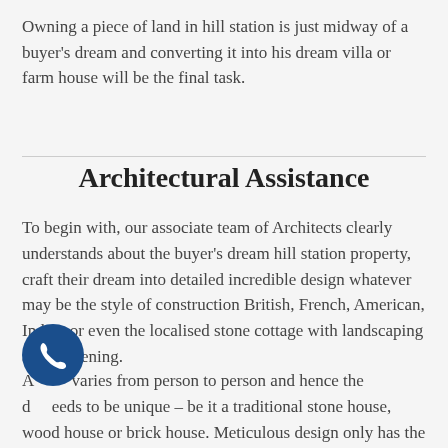Owning a piece of land in hill station is just midway of a buyer's dream and converting it into his dream villa or farm house will be the final task.
Architectural Assistance
To begin with, our associate team of Architects clearly understands about the buyer's dream hill station property, craft their dream into detailed incredible design whatever may be the style of construction British, French, American, Indian or even the localised stone cottage with landscaping and gardening.
A varies from person to person and hence the d eeds to be unique – be it a traditional stone house, wood house or brick house. Meticulous design only has the